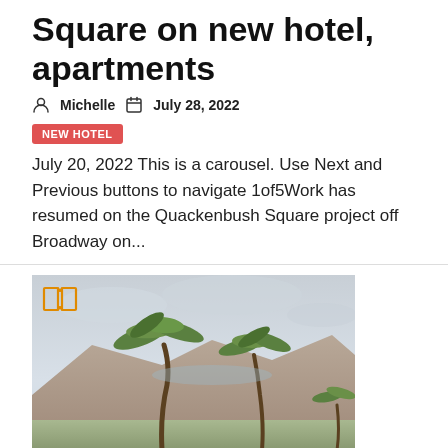Square on new hotel, apartments
Michelle   July 28, 2022
NEW HOTEL
July 20, 2022 This is a carousel. Use Next and Previous buttons to navigate 1of5Work has resumed on the Quackenbush Square project off Broadway on...
[Figure (photo): Outdoor photo of palm trees against a cloudy sky with mountains in the background, overlaid with an orange open-book icon in the top-left corner.]